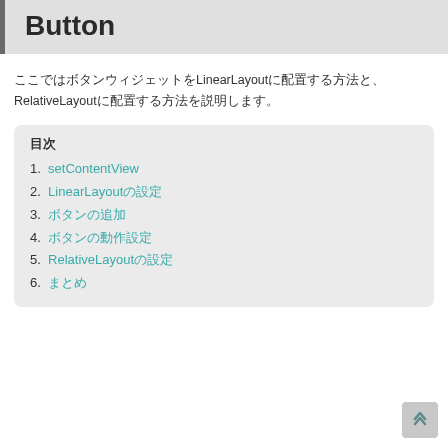Button
ここではボタンウィジェットをLinearLayoutに配置する方法と、RelativeLayoutに配置する方法を説明します。
目次
1. setContentView
2. LinearLayoutの設定
3. ボタンの追加
4. ボタンの動作設定
5. RelativeLayoutの設定
6. まとめ